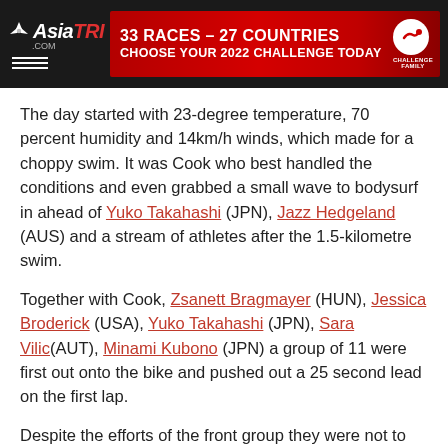AsiaTRI.com | 33 RACES – 27 COUNTRIES | CHOOSE YOUR 2022 CHALLENGE TODAY
The day started with 23-degree temperature, 70 percent humidity and 14km/h winds, which made for a choppy swim. It was Cook who best handled the conditions and even grabbed a small wave to bodysurf in ahead of Yuko Takahashi (JPN), Jazz Hedgeland (AUS) and a stream of athletes after the 1.5-kilometre swim.
Together with Cook, Zsanett Bragmayer (HUN), Jessica Broderick (USA), Yuko Takahashi (JPN), Sara Vilic(AUT), Minami Kubono (JPN) a group of 11 were first out onto the bike and pushed out a 25 second lead on the first lap.
Despite the efforts of the front group they were not to keep the chase group, headed up by Ueda away, and the